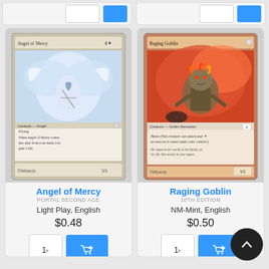[Figure (screenshot): Top partial strip showing two product cards with quantity input boxes and blue add-to-cart buttons, partially visible at top of page]
[Figure (illustration): Magic: The Gathering card - Angel of Mercy, white/light blue card art showing an angel with wings and sword]
Angel of Mercy
PORTAL SECOND AGE
Light Play, English
$0.48
[Figure (illustration): Magic: The Gathering card - Raging Goblin, red card art showing a goblin berserker charging]
Raging Goblin
10TH EDITION
NM-Mint, English
$0.50